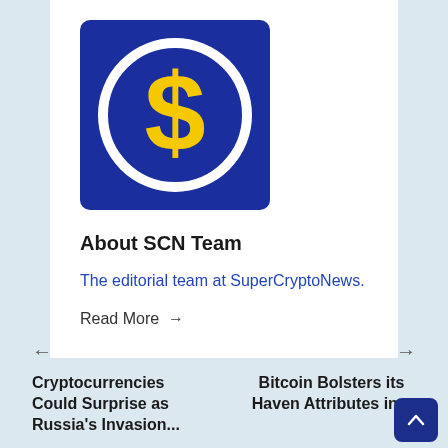[Figure (logo): SuperCryptoNews logo: dark blue square with white circle and yellow S dollar sign symbol]
About SCN Team
The editorial team at SuperCryptoNews.
Read More →
← →
Cryptocurrencies Could Surprise as Russia's Invasion...
Bitcoin Bolsters its Haven Attributes in...